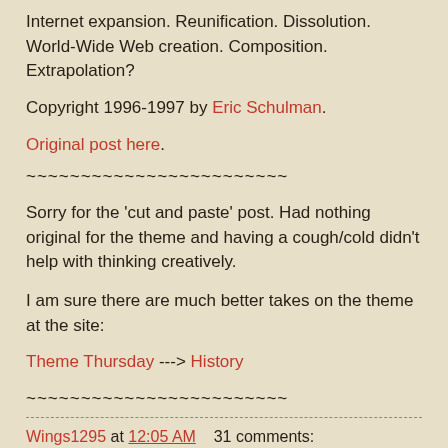Internet expansion. Reunification. Dissolution. World-Wide Web creation. Composition. Extrapolation?
Copyright 1996-1997 by Eric Schulman.
Original post here.
~~~~~~~~~~~~~~~~~~~~~~~~
Sorry for the 'cut and paste' post. Had nothing original for the theme and having a cough/cold didn't help with thinking creatively.
I am sure there are much better takes on the theme at the site:
Theme Thursday ---> History
~~~~~~~~~~~~~~~~~~~~~~~~
Wings1295 at 12:05 AM    31 comments: